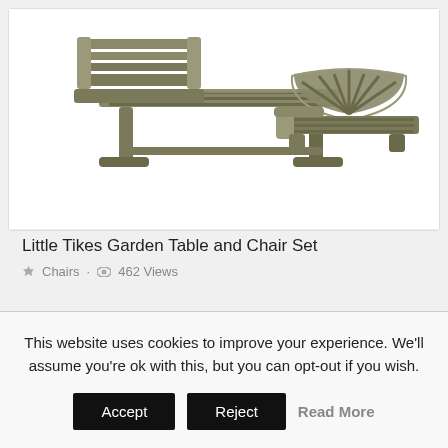[Figure (photo): Photo of Little Tikes garden table and chair set, olive/taupe colored plastic outdoor furniture showing a table with chairs and an Adirondack-style chair.]
Little Tikes Garden Table and Chair Set
Chairs · 462 Views
This website uses cookies to improve your experience. We'll assume you're ok with this, but you can opt-out if you wish.
Accept  Reject  Read More